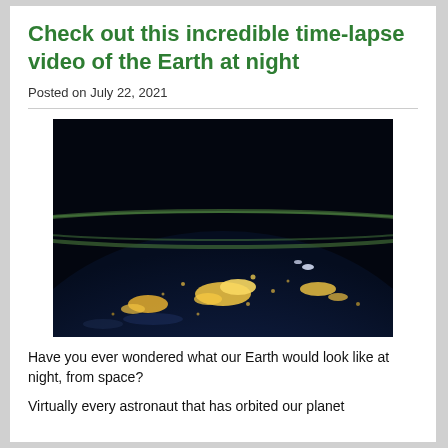Check out this incredible time-lapse video of the Earth at night
Posted on July 22, 2021
[Figure (photo): Photograph of Earth at night taken from space, showing city lights glowing across the curved surface of the planet against a dark background with a thin green atmospheric layer visible along the horizon.]
Have you ever wondered what our Earth would look like at night, from space?
Virtually every astronaut that has orbited our planet